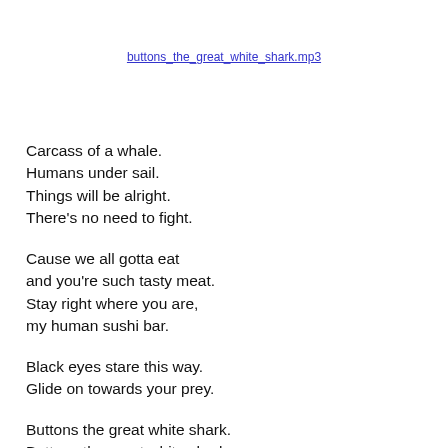buttons_the_great_white_shark.mp3
Carcass of a whale.
Humans under sail.
Things will be alright.
There's no need to fight.

Cause we all gotta eat
and you're such tasty meat.
Stay right where you are,
my human sushi bar.

Black eyes stare this way.
Glide on towards your prey.

Buttons the great white shark.
Buttons the great white shark.